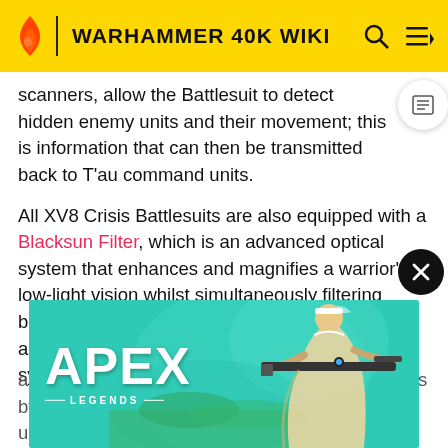WARHAMMER 40K WIKI
scanners, allow the Battlesuit to detect hidden enemy units and their movement; this is information that can then be transmitted back to T'au command units.
All XV8 Crisis Battlesuits are also equipped with a Blacksun Filter, which is an advanced optical system that enhances and magnifies a warrior's low-light vision whilst simultaneously filtering bright flares of light that could blind him in battle, and a Multi-Tracker; a sophisticated fire control system that is mounted in a sensor node that assists Battlesuit pilots in engaging enemy threats by using m... formida... conditi...
[Figure (screenshot): Apex Legends advertisement banner showing a character with a sniper rifle against a teal background with the Apex Legends logo]